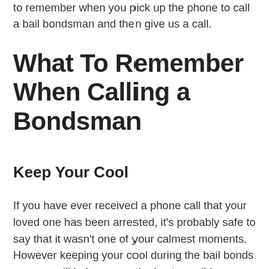to remember when you pick up the phone to call a bail bondsman and then give us a call.
What To Remember When Calling a Bondsman
Keep Your Cool
If you have ever received a phone call that your loved one has been arrested, it's probably safe to say that it wasn't one of your calmest moments. However keeping your cool during the bail bonds process will help ensure the best possible outcome for all parties. From the moment you contact our team, you can count on us to answer all of your questions and help put your mind at ease. Our goal is to help you